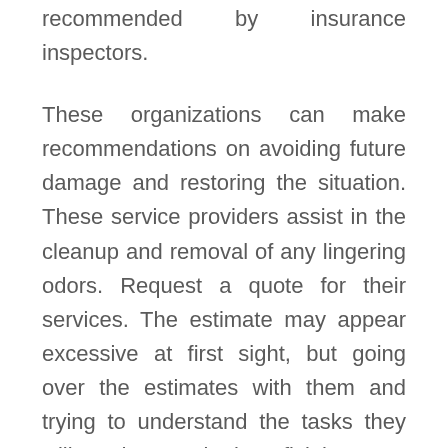recommended by insurance inspectors.
These organizations can make recommendations on avoiding future damage and restoring the situation. These service providers assist in the cleanup and removal of any lingering odors. Request a quote for their services. The estimate may appear excessive at first sight, but going over the estimates with them and trying to understand the tasks they will conduct can be beneficial.
Keep in mind though that you will be